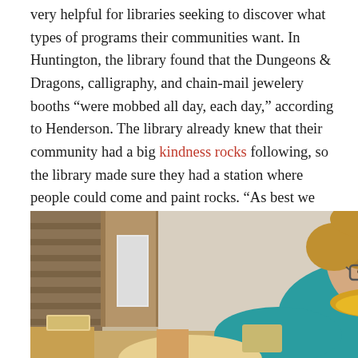very helpful for libraries seeking to discover what types of programs their communities want. In Huntington, the library found that the Dungeons & Dragons, calligraphy, and chain-mail jewelery booths “were mobbed all day, each day,” according to Henderson. The library already knew that their community had a big kindness rocks following, so the library made sure they had a station where people could come and paint rocks. “As best we could, if we saw a desire to learn or do something in the community, we tried to set up a station for it (or, failing that, a program at a later date),” Henderson said.
[Figure (photo): A woman with glasses and short curly hair, wearing a teal/turquoise top and yellow scarf/necklace, leaning forward. She appears to be at a library or community event. In the background there is colorful artwork and various items.]